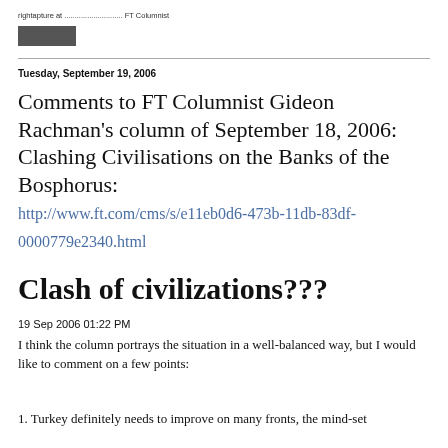rightapture at ............................ FT Columnist
Tuesday, September 19, 2006
Comments to FT Columnist Gideon Rachman's column of September 18, 2006: Clashing Civilisations on the Banks of the Bosphorus: http://www.ft.com/cms/s/e11eb0d6-473b-11db-83df-0000779e2340.html
Clash of civilizations???
19 Sep 2006 01:22 PM
I think the column portrays the situation in a well-balanced way, but I would like to comment on a few points:
1. Turkey definitely needs to improve on many fronts, the mind-set